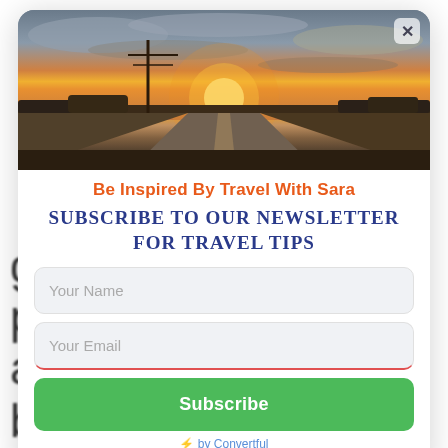[Figure (photo): Sunset panorama photo of a straight road stretching to the horizon with utility poles, dramatic cloudy sky in orange and blue tones]
×
Be Inspired By Travel With Sara
Subscribe to our Newsletter for Travel Tips
Your Name
Your Email
Subscribe
⚡ by Convertful
grounds for a quieter place in time
as you explore this beautiful town.